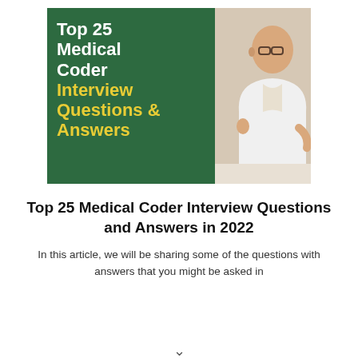[Figure (illustration): Book/article cover image showing a green background on the left with white and yellow bold text reading 'Top 25 Medical Coder Interview Questions & Answers', and a photo of a bald man in a white coat on the right side.]
Top 25 Medical Coder Interview Questions and Answers in 2022
In this article, we will be sharing some of the questions with answers that you might be asked in